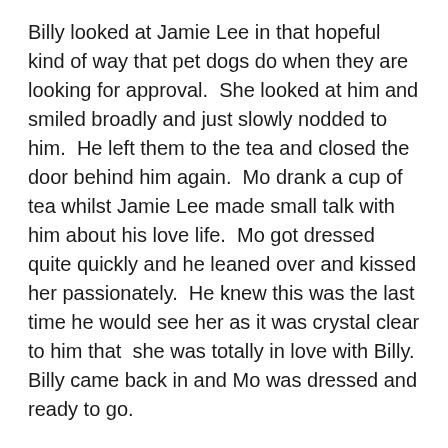Billy looked at Jamie Lee in that hopeful kind of way that pet dogs do when they are looking for approval.  She looked at him and smiled broadly and just slowly nodded to him.  He left them to the tea and closed the door behind him again.  Mo drank a cup of tea whilst Jamie Lee made small talk with him about his love life.  Mo got dressed quite quickly and he leaned over and kissed her passionately.  He knew this was the last time he would see her as it was crystal clear to him that  she was totally in love with Billy.  Billy came back in and Mo was dressed and ready to go.
Jamie lee looked at Mo and smiled at him as she said, “Thank you so much for a wonderful evening, I’ll never forget you.  I just had to make sure I am with the right man, and now I’m certain of it.”